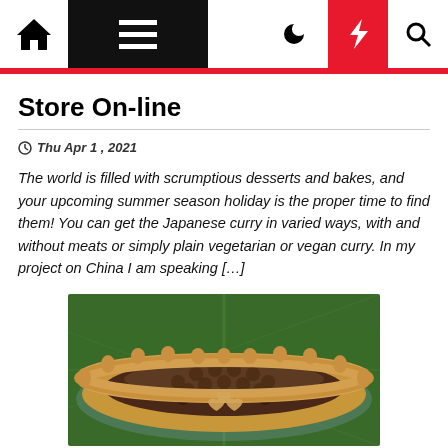Store On-line navigation bar with home, menu, moon, lightning, and search icons
Store On-line
Thu Apr 1 , 2021
The world is filled with scrumptious desserts and bakes, and your upcoming summer season holiday is the proper time to find them! You can get the Japanese curry in varied ways, with and without meats or simply plain vegetarian or vegan curry. In my project on China I am speaking […]
[Figure (photo): A baked pie with a crimped crust edge, filled with dark raisin or grape-like filling, with small heart-shaped pastry decorations in the center, sitting on a green leaf background.]